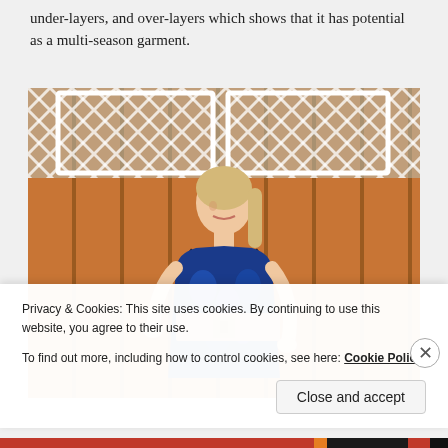under-layers, and over-layers which shows that it has potential as a multi-season garment.
[Figure (photo): A woman with blonde hair wearing a blue floral print sleeveless dress with a tan/brown wide belt, standing in front of a wooden orange fence with white lattice trellis above it.]
Privacy & Cookies: This site uses cookies. By continuing to use this website, you agree to their use.
To find out more, including how to control cookies, see here: Cookie Policy
Close and accept